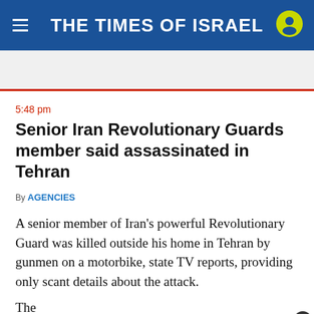THE TIMES OF ISRAEL
5:48 pm
Senior Iran Revolutionary Guards member said assassinated in Tehran
By AGENCIES
A senior member of Iran's powerful Revolutionary Guard was killed outside his home in Tehran by gunmen on a motorbike, state TV reports, providing only scant details about the attack.
The
[Figure (other): Advertisement banner: Firestone Tire Offer — Virginia Tire & Auto of Ashburn, with close button and navigation arrow]